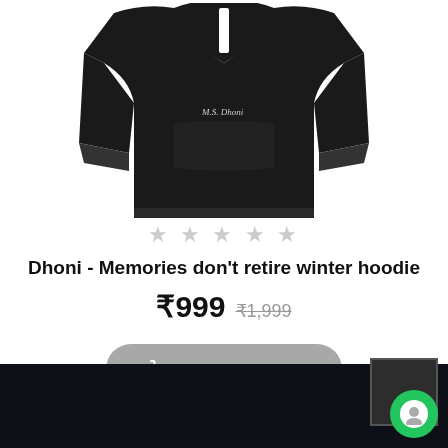[Figure (photo): Black hoodie with white stripe and signature on chest area, shown on white background]
★★★★★ (empty stars rating)
Dhoni - Memories don't retire winter hoodie
₹999  ₹1,999
ADD TO CART
[Figure (screenshot): Dark footer with green chat widget in bottom right corner]